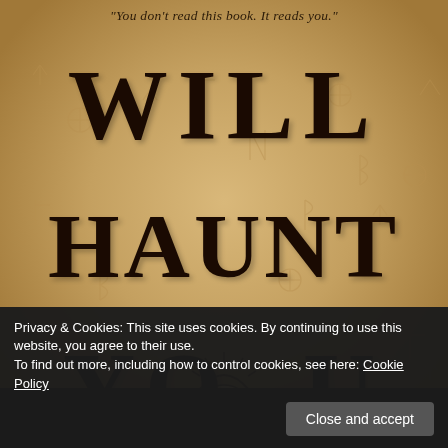[Figure (illustration): Book cover with parchment background featuring runic/mystical symbols scattered across the surface. Large dark text reads WILL HAUNT YOU in three lines with a mystical eye symbol integrated into the word YOU. Author name BRIAN appears at the bottom.]
"You don't read this book. It reads you."
WILL HAUNT YOU
BRIAN
Privacy & Cookies: This site uses cookies. By continuing to use this website, you agree to their use.
To find out more, including how to control cookies, see here: Cookie Policy
Close and accept